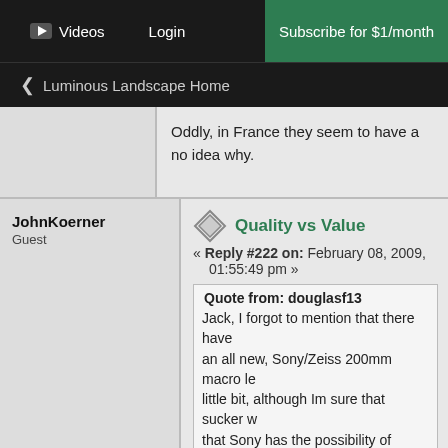Videos  Login  Subscribe for $1/month
< Luminous Landscape Home
Oddly, in France they seem to have a no idea why.
JohnKoerner
Guest
Quality vs Value
« Reply #222 on: February 08, 2009, 01:55:49 pm »
Quote from: douglasf13
Jack, I forgot to mention that there have an all new, Sony/Zeiss 200mm macro le little bit, although Im sure that sucker w that Sony has the possibility of bringing from my A900, Sony has an A200 whic the Nikons in it's price range (lenses no
Heh heh, I had commented on that in
It actually brings up the issue of "quali opposite end. Generally, it is best to g spent," and that has been the centra